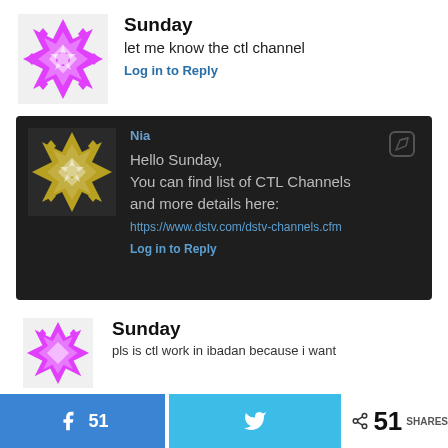[Figure (illustration): Magenta geometric avatar with diamond/star pattern]
Sunday
let me know the ctl channel
Log in to Reply
[Figure (screenshot): Dark background reply block with gold avatar, reply from 'Nia' saying: Hello Sunday, You can find list of CTL Channels and more details here: [link] Log in to Reply]
[Figure (illustration): Magenta geometric avatar, partially visible]
Sunday
pls is ctl work in ibadan because i want
51
51 SHARES